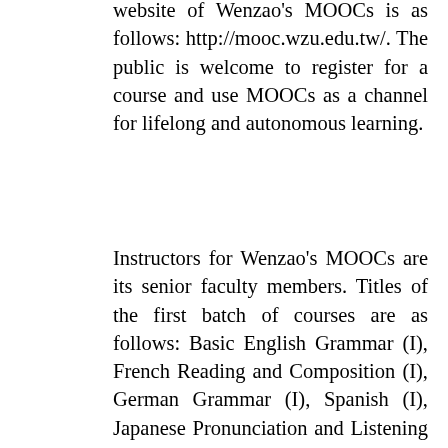website of Wenzao's MOOCs is as follows: http://mooc.wzu.edu.tw/. The public is welcome to register for a course and use MOOCs as a channel for lifelong and autonomous learning.
Instructors for Wenzao's MOOCs are its senior faculty members. Titles of the first batch of courses are as follows: Basic English Grammar (I), French Reading and Composition (I), German Grammar (I), Spanish (I), Japanese Pronunciation and Listening Practice, Japanese Conversation (I), Basic Korean Pronunciation, Life Education (I), Ethical Speculation: What Is Right to Do?, Appreciation of Famous Western Paintings and Painters, and Applications of Science and Technology. In recent years, Wenzao has been actively prepared to establish its cyber university, which is now offering nearly a hundred online courses or digital teaching materials. Materials used in MOOCs are selected out of Wenzao's